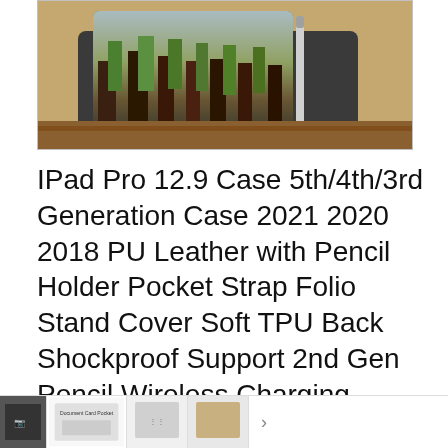[Figure (photo): Product image of an iPad Pro 12.9 leather folio case shown open at an angle, displaying an autumn forest scene on the iPad screen, with brown leather exterior and dark interior]
IPad Pro 12.9 Case 5th/4th/3rd Generation Case 2021 2020 2018 PU Leather with Pencil Holder Pocket Strap Folio Stand Cover Soft TPU Back Shockproof Support 2nd Gen Pencil Wireless Charging
As an Amazon Associate I earn from qualifying purchases. This website uses the only necessary cookies to ensure you get the best experience on our website. More information
#ad
[Figure (screenshot): Bottom thumbnail strip showing multiple product images of the iPad case]